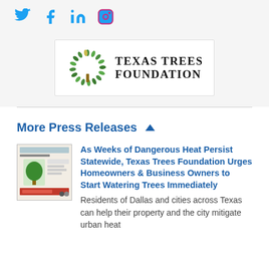[Figure (logo): Social media icons: Twitter, Facebook, LinkedIn, Instagram in blue]
[Figure (logo): Texas Trees Foundation logo with green leaf circle and serif text]
More Press Releases ▲
[Figure (photo): Thumbnail image of a tree infographic document]
As Weeks of Dangerous Heat Persist Statewide, Texas Trees Foundation Urges Homeowners & Business Owners to Start Watering Trees Immediately
Residents of Dallas and cities across Texas can help their property and the city mitigate urban heat